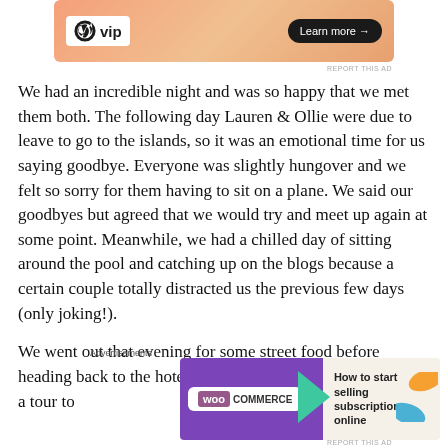[Figure (screenshot): WordPress VIP advertisement banner with orange gradient background, WP logo, VIP text, and Learn more button]
We had an incredible night and was so happy that we met them both. The following day Lauren & Ollie were due to leave to go to the islands, so it was an emotional time for us saying goodbye. Everyone was slightly hungover and we felt so sorry for them having to sit on a plane. We said our goodbyes but agreed that we would try and meet up again at some point. Meanwhile, we had a chilled day of sitting around the pool and catching up on the blogs because a certain couple totally distracted us the previous few days (only joking!).
We went out that evening for some street food before heading back to the hotel. The following day we had booked a tour to
Advertisements
[Figure (screenshot): WooCommerce advertisement with purple background, teal arrow, orange and blue leaf graphics, text: How to start selling subscriptions online]